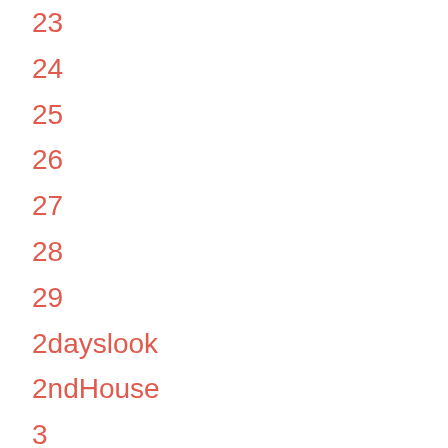23
24
25
26
27
28
29
2dayslook
2ndHouse
3
30
32
323
331
34